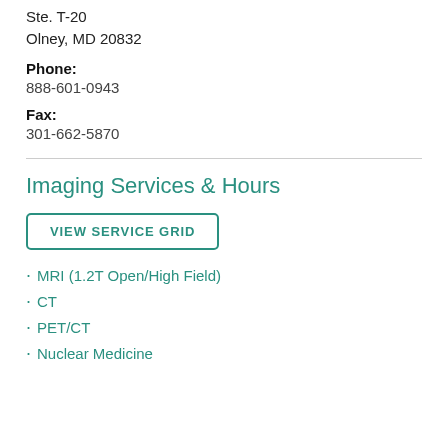Ste. T-20
Olney, MD 20832
Phone:
888-601-0943
Fax:
301-662-5870
Imaging Services & Hours
VIEW SERVICE GRID
MRI (1.2T Open/High Field)
CT
PET/CT
Nuclear Medicine